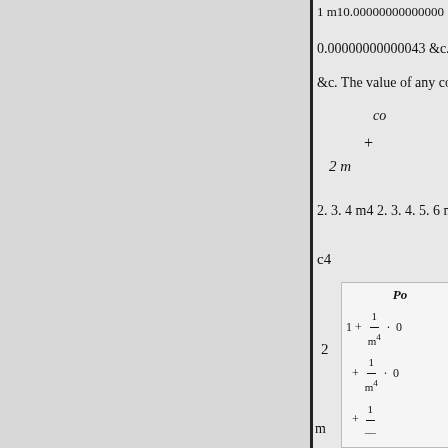1 m10.00000000000000
0.00000000000043 &c.
&c. The value of any cosine w
2. 3. 4 m4 2. 3. 4. 5. 6 m whic
c4
2
m